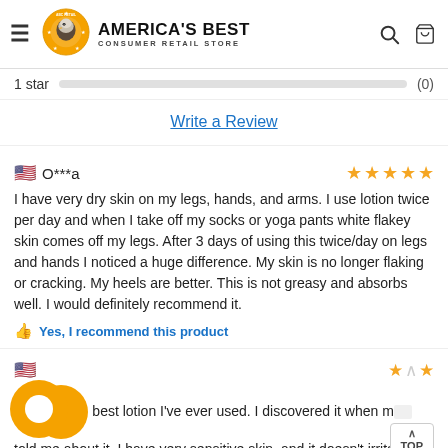AMERICA'S BEST CONSUMER RETAIL STORE
1 star (0)
Write a Review
O***a — 5 stars — I have very dry skin on my legs, hands, and arms. I use lotion twice per day and when I take off my socks or yoga pants white flakey skin comes off my legs. After 3 days of using this twice/day on legs and hands I noticed a huge difference. My skin is no longer flaking or cracking. My heels are better. This is not greasy and absorbs well. I would definitely recommend it.
Yes, I recommend this product
Th... best lotion I've ever used. I discovered it when m... told me about it. I have very sensitive skin, and it doesn't irritate at